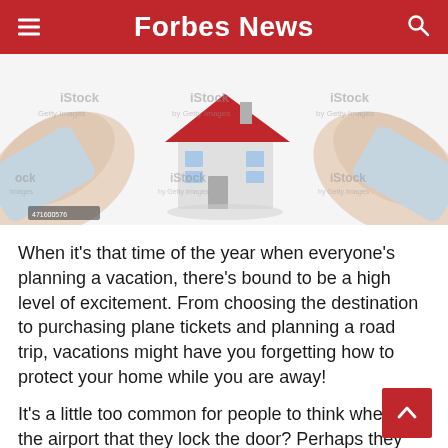Forbes News
[Figure (photo): Stock photo of two hands cupping around a small model house with a red roof, against a white background. iStock by Getty Images watermark visible multiple times.]
When it’s that time of the year when everyone’s planning a vacation, there’s bound to be a high level of excitement. From choosing the destination to purchasing plane tickets and planning a road trip, vacations might have you forgetting how to protect your home while you are away!
It’s a little too common for people to think wh… the airport that they lock the door? Perhaps they